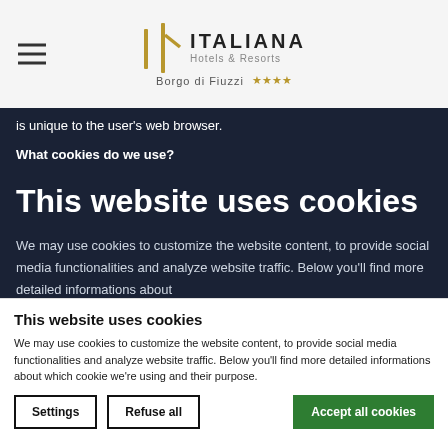ITALIANA Hotels & Resorts — Borgo di Fiuzzi ★★★★
is unique to the user's web browser.
What cookies do we use?
This website uses cookies
We may use cookies to customize the website content, to provide social media functionalities and analyze website traffic. Below you'll find more detailed informations about
This website uses cookies
We may use cookies to customize the website content, to provide social media functionalities and analyze website traffic. Below you'll find more detailed informations about which cookie we're using and their purpose.